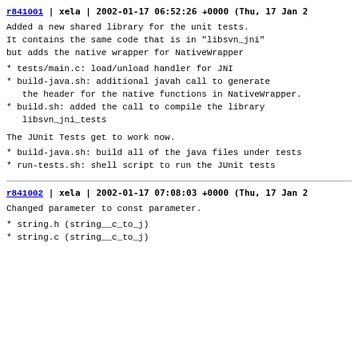r841001 | xela | 2002-01-17 06:52:26 +0000 (Thu, 17 Jan 2...
Added a new shared library for the unit tests.
It contains the same code that is in "libsvn_jni"
but adds the native wrapper for NativeWrapper
* tests/main.c: load/unload handler for JNI
* build-java.sh: additional javah call to generate
  the header for the native functions in NativeWrapper.
* build.sh: added the call to compile the library
  libsvn_jni_tests
The JUnit Tests get to work now.
* build-java.sh: build all of the java files under tests
* run-tests.sh: shell script to run the JUnit tests
r841002 | xela | 2002-01-17 07:08:03 +0000 (Thu, 17 Jan 2...
Changed parameter to const parameter.
* string.h (string__c_to_j)
* string.c (string__c_to_j)